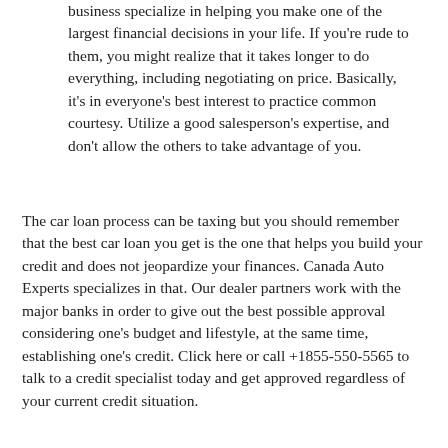business specialize in helping you make one of the largest financial decisions in your life. If you're rude to them, you might realize that it takes longer to do everything, including negotiating on price. Basically, it's in everyone's best interest to practice common courtesy. Utilize a good salesperson's expertise, and don't allow the others to take advantage of you.
The car loan process can be taxing but you should remember that the best car loan you get is the one that helps you build your credit and does not jeopardize your finances. Canada Auto Experts specializes in that. Our dealer partners work with the major banks in order to give out the best possible approval considering one's budget and lifestyle, at the same time, establishing one's credit. Click here or call +1855-550-5565 to talk to a credit specialist today and get approved regardless of your current credit situation.